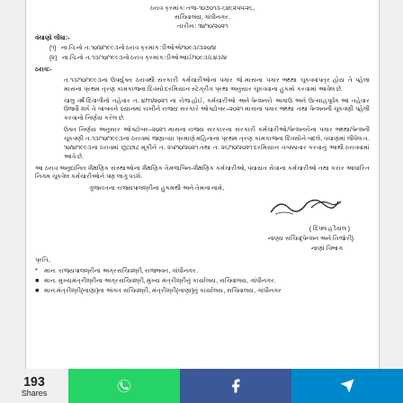ઠરાવ ક્રમાંક: તજ-૧૦૭૦૧૩-૬૪૬૨૫૫-૨૬, સચિવાલય, ગાંધીનગર. તારીખ: ૧૪/૧૦/૨૦૨૧
વંચાણો લીધા:-
(૧)   ના.વિ.નો ત.૧૦/૪/૧૯૯૩નો ઠરાવ ક્રમાંક:ડીઓએ/૧૦૯૩/૩૨૦/૪
(૨)   ના.વિ.નો ત.૧૩/૧૦/૧૯૯૩નો ઠરાવ ક્રમાંક:ડીઓઆઈ/૧૦૯૩/૮૪૩/૪
ઠરાવ:-
ત.૧૩/૧૦/૧૯૯૩ના ઉપર્યુક્ત ઠરાવથી સરકારી કર્મચારીઓના પગાર જે માસના પગાર ભથ્થા ચૂકવવાપત્ર હોય તે પહેલા માસના પ્રથમ ત્રણ કામકાજના દિવસો દરમિયાન સ્ટેગ્રીંગ પ્રથા અનુસાર ચૂકવવાના  હુકમો કરવામાં આવેલ છે.
ચાલુ વર્ષે દિવાળીનો તહેવાર ત. ૪/૧૧/૨૦૨૧ ના રોજ હોઈ,  કર્મચારીઓ અને પેન્શનરો અગાઉ  અને ઉત્સાહપૂર્વક આ તહેવાર ઉજવી શકે તે બાબતને ધ્યાનમાં રાખીને રાજ્ય સરકારે ઓક્ટોબર–૨૦૨૧ માસના પગાર ભથ્થા તથા પેન્શનની ચૂકવણી પહેલી કરવાનો નિર્ણય કરેલ છે.
ઉક્ત નિર્ણય અનુસાર ઓક્ટોબર–૨૦૨૧ માસના રાજ્ય સરકારના સરકારી કર્મચારીઓ/પેન્શનરોના પગાર ભથ્થા/પેન્શની ચૂકવણી ત.૧૩/૧૦/૧૯૯૩ના ઠરાવમાં જણાવ્યા પ્રમાણે મહિનાના પ્રથમ ત્રણ કામકાજના દિવસોને બદલે, વંચાણમાં લીધેલ ત. ૧૦/૪/૧૯૯૩ના ઠરાવમાં છૂટછાટ મૂકીને ત. ૨૫/૧૦/૨૦૨૧ તથા ત. ૨૬/૧૦/૨૦૨૧ દરમિયાન તબક્કાવાર કરવાનું આથી ઠરાવવામાં આવે છે.
આ ઠરાવ અનુદાનિત શૈક્ષણિક સંસ્થાઓના શૈક્ષણિક તેમજ બિન-શૈક્ષણિક કર્મચારીઓ, પંચાયત સેવાના કર્મચારીઓ તથા કરાર આધારિત નિગમ ચૂકવેલ કર્મચારીઓને પણ લાગુ પડશે.
ગુજરાતના રાજ્યપાલશ્રીના હુકમથી અને તેમના નામે,
[Figure (illustration): Signature of Dipal Hadayal]
( દિપલ હડૈયલ )
નાણ્ય સચિવ(પેન્શન અને તિજોરી)
નાણાં વિભાગ
પ્રતિ,
* માન. રાજ્યપાલશ્રીના અગ્રસચિવશ્રી, રાજભવન, ગાંધીનગર.
■ માન. મુખ્યમંત્રીશ્રીના અગ્રસચિવશ્રી, મુખ્ય મંત્રીશ્રીનું કાર્યાલય, સચિવાલય, ગાંધીનગર.
■ માન.મંત્રીશ્રી(નાણા)ના અંગત સચિવશ્રી, મંત્રીશ્રી(નાણા)નું કાર્યાલય, સચિવાલય, ગાંધીનગર